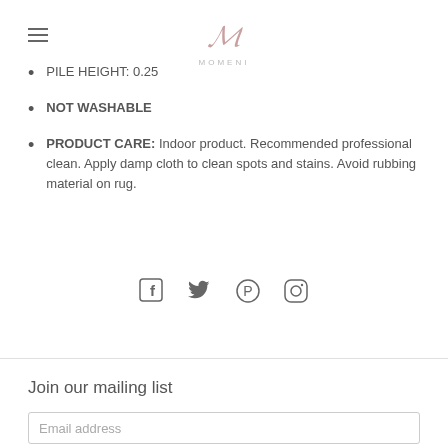MOMENI
PILE HEIGHT: 0.25
NOT WASHABLE
PRODUCT CARE: Indoor product. Recommended professional clean. Apply damp cloth to clean spots and stains. Avoid rubbing material on rug.
[Figure (infographic): Social media icons: Facebook, Twitter, Pinterest, Instagram]
Join our mailing list
Email address